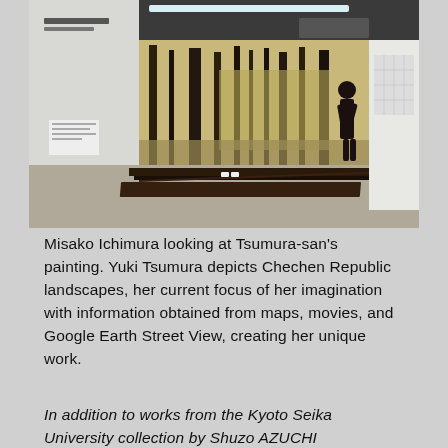[Figure (photo): Interior of an art gallery. A large panoramic painting of Chechen Republic landscapes with bare trees is displayed on the back wall. A person (Misako Ichimura) stands to the right viewing the painting. A long low dark wooden bench/platform is in the foreground. Additional works are visible on the right wall. The ceiling has exposed industrial elements and fluorescent lighting.]
Misako Ichimura looking at Tsumura-san's painting. Yuki Tsumura depicts Chechen Republic landscapes, her current focus of her imagination with information obtained from maps, movies, and Google Earth Street View, creating her unique work.
In addition to works from the Kyoto Seika University collection by Shuzo AZUCHI